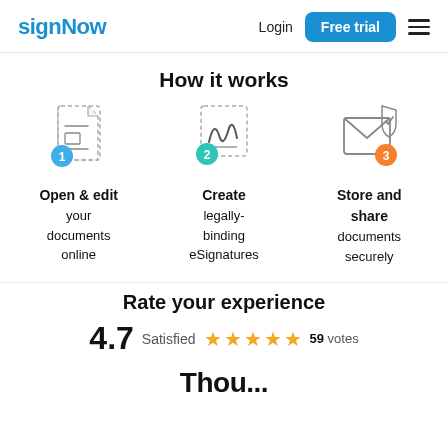signNow | Login | Free trial
How it works
[Figure (infographic): Three-step process icons: 1) document icon with blue circle numbered 1 (Open & edit your documents online), 2) signature icon with teal circle numbered 2 (Create legally-binding eSignatures), 3) envelope/badge icon with orange circle numbered 3 (Store and share documents securely)]
Open & edit
your
documents
online
Create
legally-
binding
eSignatures
Store and
share
documents
securely
Rate your experience
4.7  Satisfied  ★★★★★  59 votes
Thou...